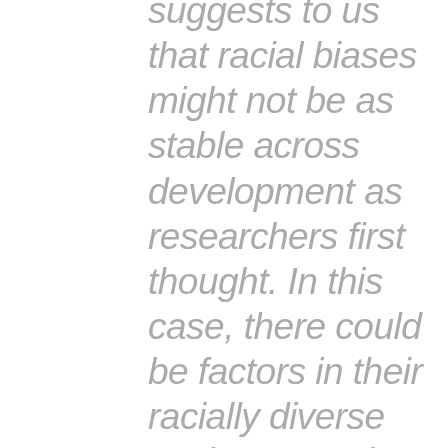suggests to us that racial biases might not be as stable across development as researchers first thought. In this case, there could be factors in their racially diverse environment that are leading older children to show less bias, such as cross-race friends, mentors, positive Black role models, or a more Afrocentric curriculum that are helping